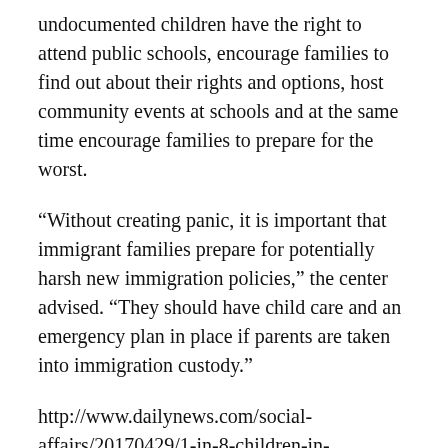undocumented children have the right to attend public schools, encourage families to find out about their rights and options, host community events at schools and at the same time encourage families to prepare for the worst.
“Without creating panic, it is important that immigrant families prepare for potentially harsh new immigration policies,” the center advised. “They should have child care and an emergency plan in place if parents are taken into immigration custody.”
http://www.dailynews.com/social-affairs/20170429/1-in-8-children-in-california-schools-have-an-undocumented-parent